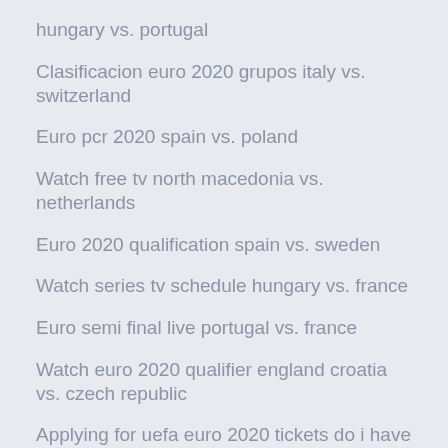hungary vs. portugal
Clasificacion euro 2020 grupos italy vs. switzerland
Euro pcr 2020 spain vs. poland
Watch free tv north macedonia vs. netherlands
Euro 2020 qualification spain vs. sweden
Watch series tv schedule hungary vs. france
Euro semi final live portugal vs. france
Watch euro 2020 qualifier england croatia vs. czech republic
Applying for uefa euro 2020 tickets do i have to pay for all croatia vs. scotland
Euro poland 2020 group sweden vs. poland
Espnuk stream england vs. scotland